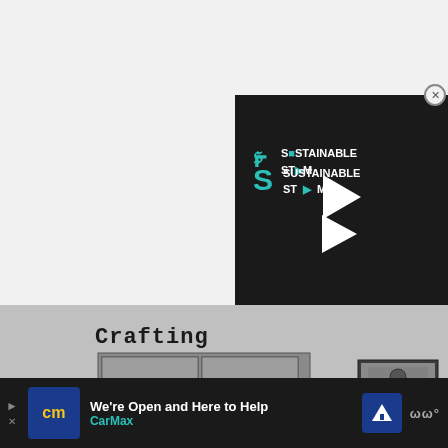[Figure (screenshot): Video player overlay with close button (X in circle) in top-right corner. Dark background with 'SUSTAINABLE STEAM' logo/text in teal and white, a white play button triangle in center, and a teal progress bar at the bottom.]
[Figure (screenshot): Minecraft crafting interface screenshot showing 'Crafting' heading in pixelated font, a 2x2 crafting grid with a green item in top-left cell and a yellow stick/item in bottom-right cell, an arrow pointing right, and a crafted item result on the right. A green mossy block icon appears on the far left.]
[Figure (screenshot): CarMax advertisement banner at bottom: 'We're Open and Here to Help' with CarMax logo (yellow 'cm' on blue background), 'CarMax' text in teal, a blue navigation arrow icon on the right, and a 'www' branding element on far right.]